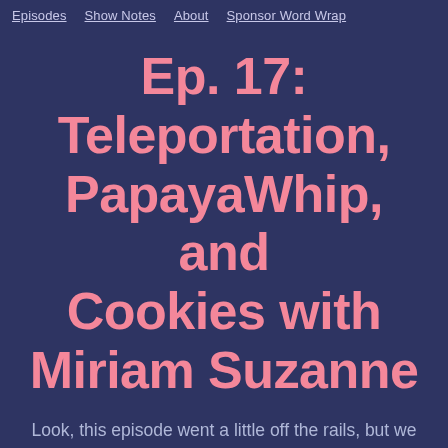Episodes   Show Notes   About   Sponsor Word Wrap
Ep. 17: Teleportation, PapayaWhip, and Cookies with Miriam Suzanne
Look, this episode went a little off the rails, but we hope you have fun listening! Thanks to our guest Miriam Suzanne for joining us!